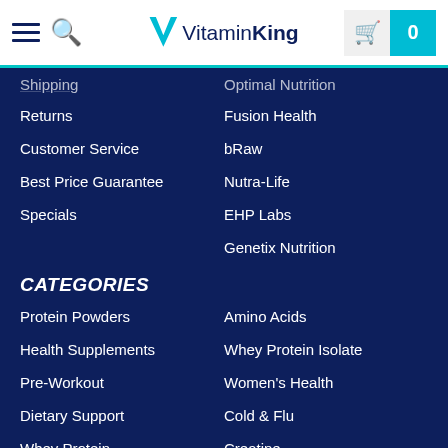VitaminKing
Shipping
Optimal Nutrition
Returns
Fusion Health
Customer Service
bRaw
Best Price Guarantee
Nutra-Life
Specials
EHP Labs
Genetix Nutrition
CATEGORIES
Protein Powders
Amino Acids
Health Supplements
Whey Protein Isolate
Pre-Workout
Women's Health
Dietary Support
Cold & Flu
Whey Protein
Creatine
Vitamin C
Protein Bars